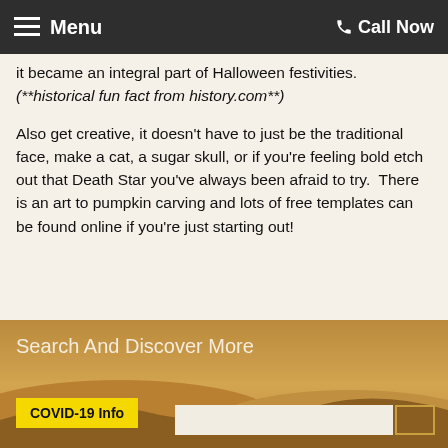Menu | Call Now
it became an integral part of Halloween festivities.
(**historical fun fact from history.com**)
Also get creative, it doesn't have to just be the traditional face, make a cat, a sugar skull, or if you're feeling bold etch out that Death Star you've always been afraid to try.  There is an art to pumpkin carving and lots of free templates can be found online if you're just starting out!
[Figure (photo): Desert landscape background with sandy hills and golden sky]
Search And Discover More
COVID-19 Info